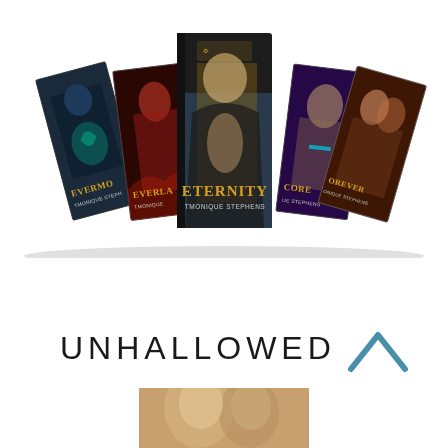[Figure (illustration): Five fantasy romance book covers fanned out in a display. Center book titled 'ETERNITY' by Tmonique Stephens featuring a shirtless male figure. Other visible titles include 'EVERMORE', 'EVERLA[STING]', '[SC]ORE', and '[F]OREVER' all by Tmonique Stephens. Books have dark, dramatic covers with figures.]
UNHALLOWED
[Figure (illustration): Partial bottom portion of a book cover showing a close-up of faces, cropped at the bottom edge of the page.]